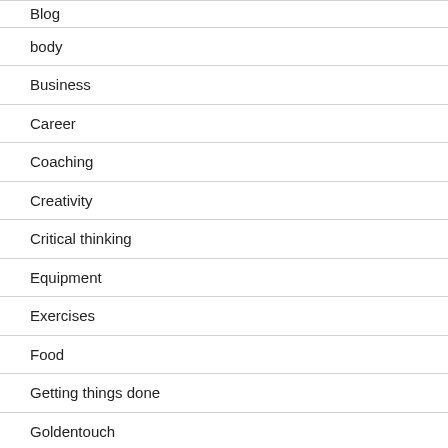Blog
body
Business
Career
Coaching
Creativity
Critical thinking
Equipment
Exercises
Food
Getting things done
Goldentouch